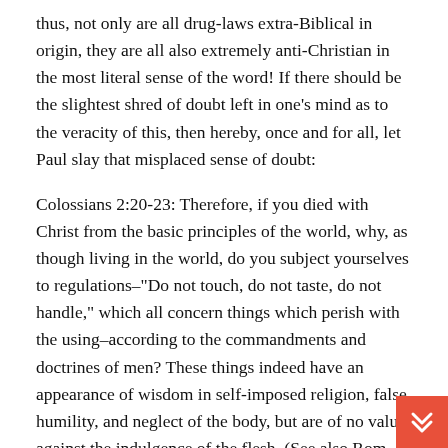thus, not only are all drug-laws extra-Biblical in origin, they are all also extremely anti-Christian in the most literal sense of the word! If there should be the slightest shred of doubt left in one's mind as to the veracity of this, then hereby, once and for all, let Paul slay that misplaced sense of doubt:
Colossians 2:20-23: Therefore, if you died with Christ from the basic principles of the world, why, as though living in the world, do you subject yourselves to regulations–"Do not touch, do not taste, do not handle," which all concern things which perish with the using–according to the commandments and doctrines of men? These things indeed have an appearance of wisdom in self-imposed religion, false humility, and neglect of the body, but are of no value against the indulgence of the flesh. (See also Rom. 14:14.)